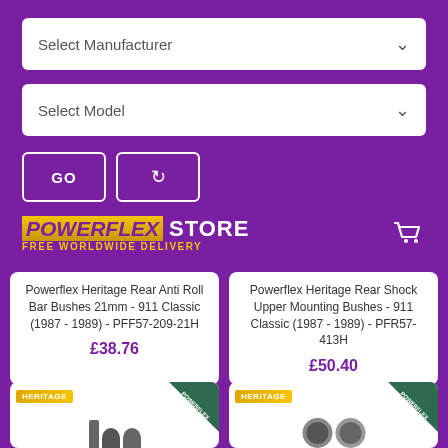[Figure (screenshot): Purple background e-commerce page from Powerflex Store showing manufacturer/model selection dropdowns, GO and refresh buttons, Powerflex Store logo with FREE WORLDWIDE DELIVERY tagline and shopping cart icon, two product cards for Heritage parts with prices, and two more product cards partially visible at bottom.]
Select Manufacturer
Select Model
GO
POWERFLEX STORE FREE WORLDWIDE DELIVERY
Powerflex Heritage Rear Anti Roll Bar Bushes 21mm - 911 Classic (1987 - 1989) - PFF57-209-21H
£38.76
Powerflex Heritage Rear Shock Upper Mounting Bushes - 911 Classic (1987 - 1989) - PFR57-413H
£50.40